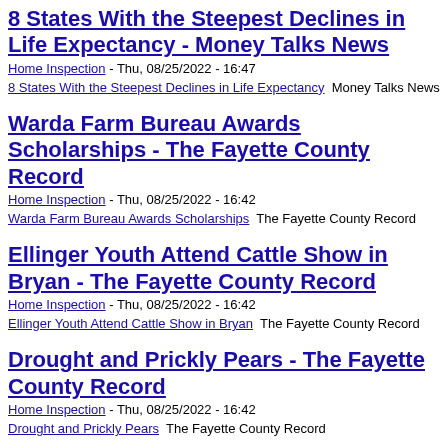8 States With the Steepest Declines in Life Expectancy - Money Talks News
Home Inspection - Thu, 08/25/2022 - 16:47
8 States With the Steepest Declines in Life Expectancy  Money Talks News
Warda Farm Bureau Awards Scholarships - The Fayette County Record
Home Inspection - Thu, 08/25/2022 - 16:42
Warda Farm Bureau Awards Scholarships  The Fayette County Record
Ellinger Youth Attend Cattle Show in Bryan - The Fayette County Record
Home Inspection - Thu, 08/25/2022 - 16:42
Ellinger Youth Attend Cattle Show in Bryan  The Fayette County Record
Drought and Prickly Pears - The Fayette County Record
Home Inspection - Thu, 08/25/2022 - 16:42
Drought and Prickly Pears  The Fayette County Record